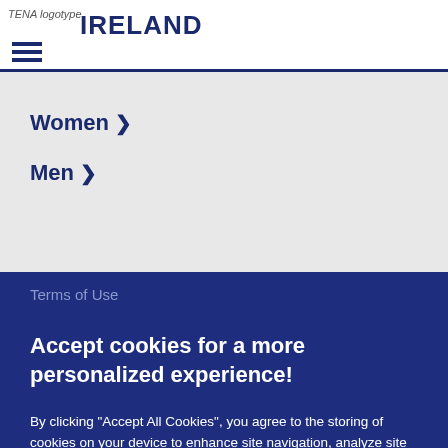TENA logotype IRELAND
Women >
Men >
Terms of Use
Accept cookies for a more personalized experience!
By clicking “Accept All Cookies”, you agree to the storing of cookies on your device to enhance site navigation, analyze site usage, and assist in our marketing efforts.
Accept All Cookies
Manage your choices